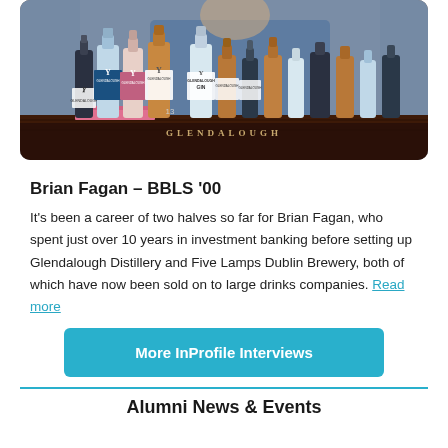[Figure (photo): Photo of Glendalough whiskey and gin bottles displayed on a wooden bar counter, with a person visible in the background. The wooden bar has 'GLENDALOUGH' lettered on it.]
Brian Fagan – BBLS '00
It's been a career of two halves so far for Brian Fagan, who spent just over 10 years in investment banking before setting up Glendalough Distillery and Five Lamps Dublin Brewery, both of which have now been sold on to large drinks companies. Read more
More InProfile Interviews
Alumni News & Events